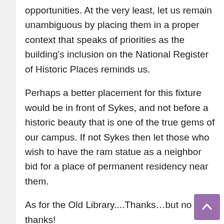opportunities. At the very least, let us remain unambiguous by placing them in a proper context that speaks of priorities as the building's inclusion on the National Register of Historic Places reminds us.
Perhaps a better placement for this fixture would be in front of Sykes, and not before a historic beauty that is one of the true gems of our campus. If not Sykes then let those who wish to have the ram statue as a neighbor bid for a place of permanent residency near them.
As for the Old Library....Thanks…but no thanks!
Jeanne King is the Director of Sponsored Research at West Chester University. Douglas